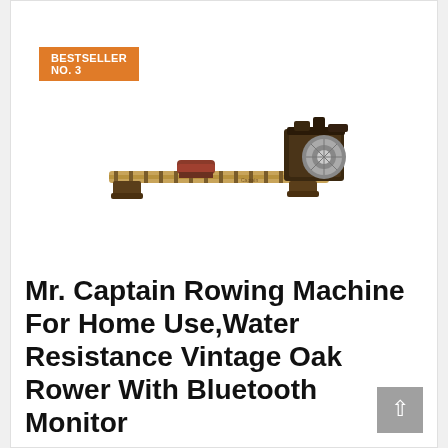BESTSELLER NO. 3
[Figure (photo): Mr. Captain rowing machine with dark wood frame, sliding seat, and water resistance tank with metal flywheel]
Mr. Captain Rowing Machine For Home Use,Water Resistance Vintage Oak Rower With Bluetooth Monitor